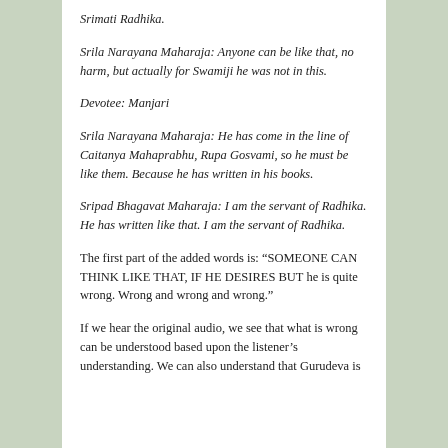Srimati Radhika.
Srila Narayana Maharaja: Anyone can be like that, no harm, but actually for Swamiji he was not in this.
Devotee: Manjari
Srila Narayana Maharaja: He has come in the line of Caitanya Mahaprabhu, Rupa Gosvami, so he must be like them. Because he has written in his books.
Sripad Bhagavat Maharaja: I am the servant of Radhika. He has written like that. I am the servant of Radhika.
The first part of the added words is: “SOMEONE CAN THINK LIKE THAT, IF HE DESIRES BUT he is quite wrong. Wrong and wrong and wrong.”
If we hear the original audio, we see that what is wrong can be understood based upon the listener’s understanding. We can also understand that Gurudeva is